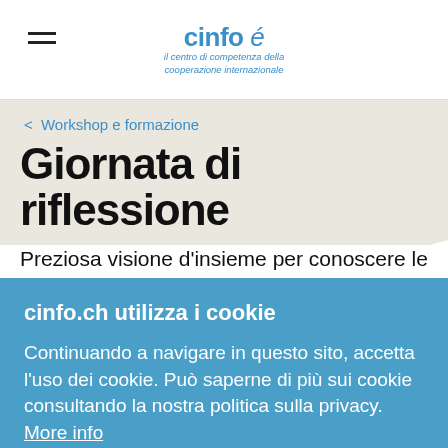cinfo é — il centro di competenza della cooperazione internazionale
< Workshop e formazione
Giornata di riflessione
Preziosa visione d'insieme per conoscere le possibilità di lavorare nell'ambito dell'aiuto
cinfo.ch utilizza i cookie
Continuando a navigare in questo sito, accetta l'uso dei cookie. Può saperne di più sui cookie consultando la nostra politica sulla privacy. More info